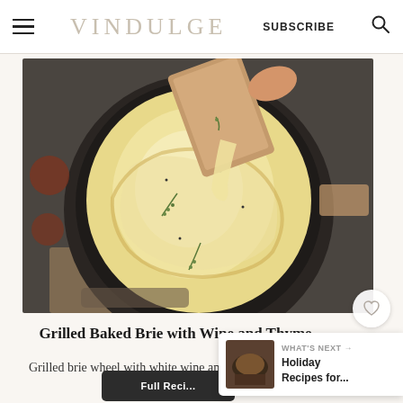VINDULGE — SUBSCRIBE
[Figure (photo): Close-up photo of melted brie cheese in a cast iron pan with a piece of crostini being dipped in, with thyme garnish]
Grilled Baked Brie with Wine and Thyme
Grilled brie wheel with white wine and thyme served with grilled crostini.
Full Recipe
WHAT'S NEXT → Holiday Recipes for...